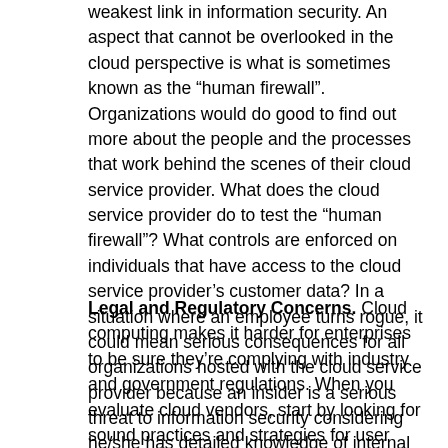weakest link in information security. An aspect that cannot be overlooked in the cloud perspective is what is sometimes known as the “human firewall”. Organizations would do good to find out more about the people and the processes that work behind the scenes of their cloud service provider. What does the cloud service provider do to test the “human firewall”? What controls are enforced on individuals that have access to the cloud service provider’s customer data? In a situation where an employee turns rogue, it could mean serious consequences for all organizations hosted with the cloud service provider because an insider is a serious threat to information security considering he/she has detailed knowledge of internal processes and “knows his/her way around”. Another important consideration for organizations eyeing the cloud is to investigate what their cloud service provider does to train its employees in information security. A malicious employee is bad enough, but an unaware employee is not any better.
Legal and Regulatory Concerns. Cloud computing makes it harder for enterprises to be sure they’re complying with industry and government regulations. When you evaluate cloud vendors, start by looking for sound practices and strategies for user identity and access management, data protection and incident response. Be aware of new challenges the cloud may